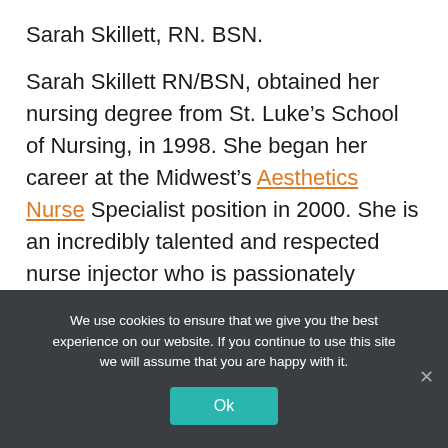Sarah Skillett, RN. BSN.
Sarah Skillett RN/BSN, obtained her nursing degree from St. Luke’s School of Nursing, in 1998. She began her career at the Midwest’s Aesthetics Nurse Specialist position in 2000. She is an incredibly talented and respected nurse injector who is passionately involved with aesthetics. She has received extensive training both from national companies and physicians. She frequently attends national conventions to
We use cookies to ensure that we give you the best experience on our website. If you continue to use this site we will assume that you are happy with it.